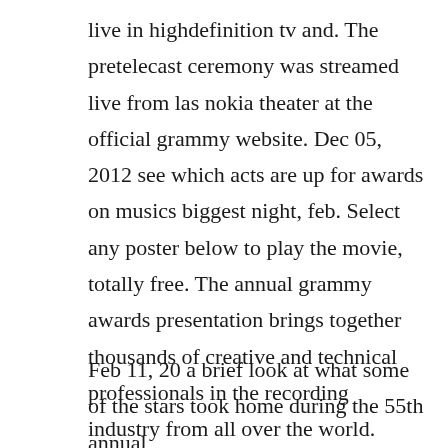live in highdefinition tv and. The pretelecast ceremony was streamed live from las nokia theater at the official grammy website. Dec 05, 2012 see which acts are up for awards on musics biggest night, feb. Select any poster below to play the movie, totally free. The annual grammy awards presentation brings together thousands of creative and technical professionals in the recording industry from all over the world.
Feb 11, 20 a brief look at what some of the stars took home during the 55th annual